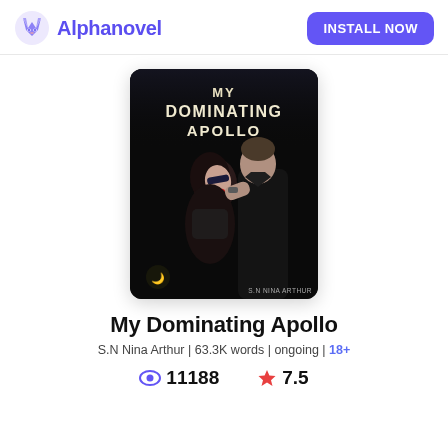Alphanovel  INSTALL NOW
[Figure (illustration): Book cover for 'My Dominating Apollo' by S.N Nina Arthur. Dark background with a man and woman in an intimate pose. Title text at top in bold white/gold letters.]
My Dominating Apollo
S.N Nina Arthur | 63.3K words | ongoing | 18+
11188  7.5